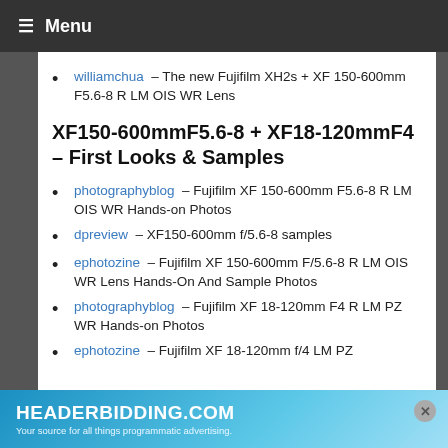≡ Menu
williamchua – The new Fujifilm XH2s + XF 150-600mm F5.6-8 R LM OIS WR Lens
XF150-600mmF5.6-8 + XF18-120mmF4 – First Looks & Samples
photographyblog – Fujifilm XF 150-600mm F5.6-8 R LM OIS WR Hands-on Photos
dpreview – XF150-600mm f/5.6-8 samples
ephotozine – Fujifilm XF 150-600mm F/5.6-8 R LM OIS WR Lens Hands-On And Sample Photos
photographyblog – Fujifilm XF 18-120mm F4 R LM PZ WR Hands-on Photos
ephotozine – Fujifilm XF 18-120mm f/4 LM PZ
HEADERBIDDING.COM – Your source for all things programmatic advertising.